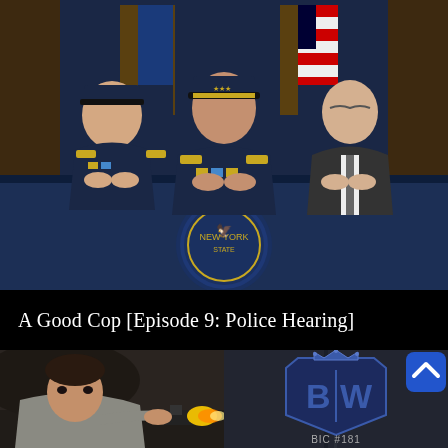[Figure (photo): Three men seated behind a table at a police press conference. Two are in NYPD dress uniform with caps, the third in a suit. An official seal and American flag in background.]
A Good Cop [Episode 9: Police Hearing]
[Figure (photo): Man firing a gun with muzzle flash, action scene from TV show.]
[Figure (photo): Dark blue metal surface with BW logo (crown above shield with letters B and W), labeled BIC #181. Blue app icon with chevron in upper right corner.]